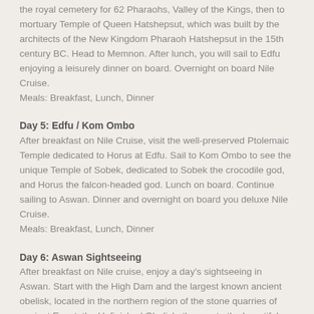the royal cemetery for 62 Pharaohs, Valley of the Kings, then to mortuary Temple of Queen Hatshepsut, which was built by the architects of the New Kingdom Pharaoh Hatshepsut in the 15th century BC. Head to Memnon. After lunch, you will sail to Edfu enjoying a leisurely dinner on board. Overnight on board Nile Cruise.
Meals: Breakfast, Lunch, Dinner
Day 5: Edfu / Kom Ombo
After breakfast on Nile Cruise, visit the well-preserved Ptolemaic Temple dedicated to Horus at Edfu. Sail to Kom Ombo to see the unique Temple of Sobek, dedicated to Sobek the crocodile god, and Horus the falcon-headed god. Lunch on board. Continue sailing to Aswan. Dinner and overnight on board you deluxe Nile Cruise.
Meals: Breakfast, Lunch, Dinner
Day 6: Aswan Sightseeing
After breakfast on Nile cruise, enjoy a day's sightseeing in Aswan. Start with the High Dam and the largest known ancient obelisk, located in the northern region of the stone quarries of ancient Egypt, the Unfinished Obelisk, then on to the beautiful Temple of Philae, which is devoted to the two goddesses Isis and Hathor. Dinner and overnight on board you deluxe Nile Cruise.